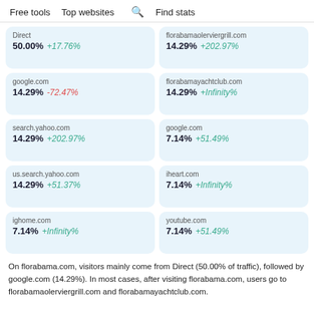Free tools   Top websites   🔍 Find stats
| Source | Share | Change |
| --- | --- | --- |
| Direct | 50.00% | +17.76% |
| florabamaolerviergrill.com | 14.29% | +202.97% |
| google.com | 14.29% | -72.47% |
| florabamayachtclub.com | 14.29% | +Infinity% |
| search.yahoo.com | 14.29% | +202.97% |
| google.com | 7.14% | +51.49% |
| us.search.yahoo.com | 14.29% | +51.37% |
| iheart.com | 7.14% | +Infinity% |
| ighome.com | 7.14% | +Infinity% |
| youtube.com | 7.14% | +51.49% |
On florabama.com, visitors mainly come from Direct (50.00% of traffic), followed by google.com (14.29%). In most cases, after visiting florabama.com, users go to florabamaolerviergrill.com and florabamayachtclub.com.